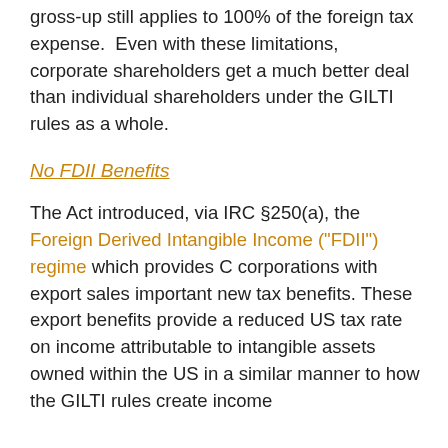gross-up still applies to 100% of the foreign tax expense.  Even with these limitations, corporate shareholders get a much better deal than individual shareholders under the GILTI rules as a whole.
No FDII Benefits
The Act introduced, via IRC §250(a), the Foreign Derived Intangible Income ("FDII") regime which provides C corporations with export sales important new tax benefits. These export benefits provide a reduced US tax rate on income attributable to intangible assets owned within the US in a similar manner to how the GILTI rules create income